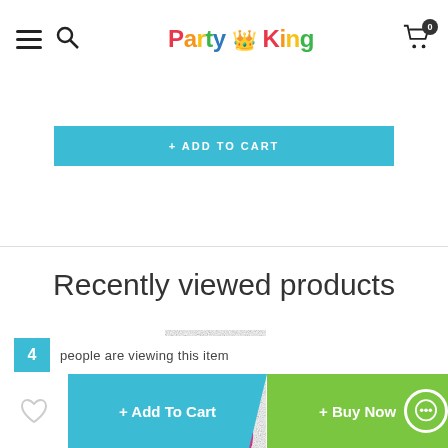Party King - navigation header with menu, search, logo, and cart
[Figure (screenshot): Add to Cart button in teal/cyan color]
Recently viewed products
[Figure (photo): Pink glitter number 5 product image]
4 people are viewing this item
+ Add To Cart
+ Buy Now